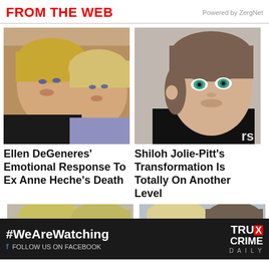FROM THE WEB
Powered by ZergNet
[Figure (photo): Two smiling blonde women posing together at a public event (Ellen DeGeneres and Anne Heche)]
[Figure (photo): Young woman with blue-green eyes and brown hair looking at camera (Shiloh Jolie-Pitt)]
Ellen DeGeneres' Emotional Response To Ex Anne Heche's Death
Shiloh Jolie-Pitt's Transformation Is Totally On Another Level
[Figure (photo): Partial view of two people, one blonde woman]
[Figure (photo): Partial view of two people, one blonde woman and an older man]
#WeAreWatching FOLLOW US ON FACEBOOK
TRU CRIME DAILY